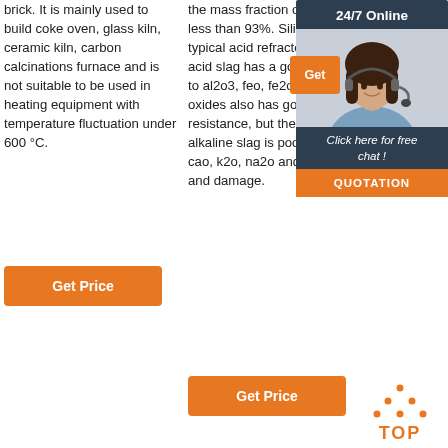brick. It is mainly used to build coke oven, glass kiln, ceramic kiln, carbon calcinations furnace and is not suitable to be used in heating equipment with temperature fluctuation under 600 °C.
[Figure (other): Orange 'Get Price' button]
the mass fraction of sio2 is not less than 93%. Silica brick is a typical acid refractory bricks, the acid slag has a good resistance to al2o3, feo, fe2o3 and other oxides also has good resistance, but the resistance to alkaline slag is poor, easy to cao, k2o, na2o and other oxides and damage.
[Figure (other): Orange 'Get Price' button]
manufacturers. Business information about company profile, email, tel, phone ...
[Figure (other): 24/7 online chat widget with customer service representative photo, 'Click here for free chat!' text, orange Get button, and QUOTATION button]
[Figure (other): Orange TOP scroll-to-top icon with dots above and 'TOP' text]